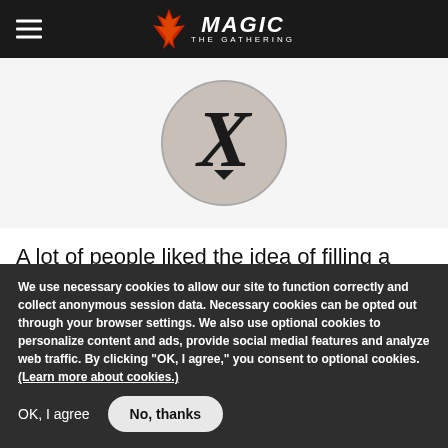Magic: The Gathering
[Figure (illustration): Magic: The Gathering X mana cost symbol — a gray circle with a black X inside it]
A lot of people liked the idea of filling a Knowledge Pool deck with X spells. They're useful on their own, can be cast for a low price (just set X as 0) and your opponent(s) will find
We use necessary cookies to allow our site to function correctly and collect anonymous session data. Necessary cookies can be opted out through your browser settings. We also use optional cookies to personalize content and ads, provide social medial features and analyze web traffic. By clicking “OK, I agree,” you consent to optional cookies. (Learn more about cookies.)
OK, I agree
No, thanks